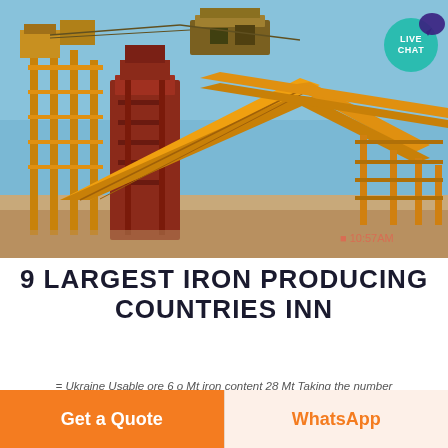[Figure (photo): Industrial iron ore processing facility with large red and yellow conveyor belt machinery under a blue sky, timestamp 10:57AM visible in bottom right corner]
9 LARGEST IRON PRODUCING COUNTRIES INN
= Ukraine Usable ore 6 o Mt iron content 28 Mt Taking the number
Get a Quote
WhatsApp